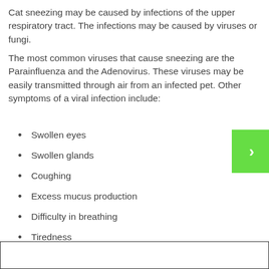Cat sneezing may be caused by infections of the upper respiratory tract. The infections may be caused by viruses or fungi.
The most common viruses that cause sneezing are the Parainfluenza and the Adenovirus. These viruses may be easily transmitted through air from an infected pet. Other symptoms of a viral infection include:
Swollen eyes
Swollen glands
Coughing
Excess mucus production
Difficulty in breathing
Tiredness
The bacterial infections that may cause sneezing include the Bortadella or the Adeno-2. These are highly contagious infections